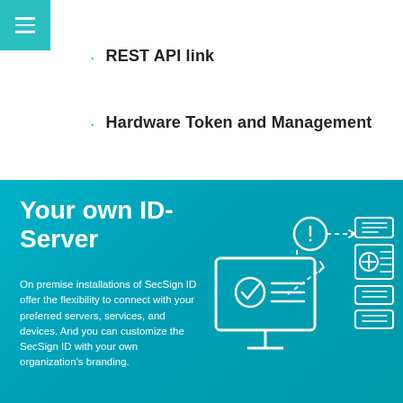REST API link
Hardware Token and Management
Your own ID-Server
On premise installations of SecSign ID offer the flexibility to connect with your preferred servers, services, and devices. And you can customize the SecSign ID with your own organization's branding.
[Figure (illustration): Line art illustration showing a desktop monitor with a checkmark and lines (representing secure login), a speech bubble with an exclamation mark connected by dashed arrows to a stack of server/device icons on the right.]